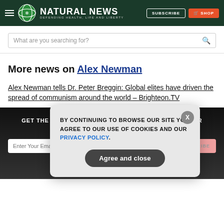NATURAL NEWS — DEFENDING HEALTH, LIFE AND LIBERTY
What are you searching for?
More news on Alex Newman
Alex Newman tells Dr. Peter Breggin: Global elites have driven the spread of communism around the world – Brighteon.TV
GET THE WORLD'S BEST NATURAL HEALTH NEWSLETTER DELIVERED STRAIGHT TO YOUR INBOX
BY CONTINUING TO BROWSE OUR SITE YOU AGREE TO OUR USE OF COOKIES AND OUR PRIVACY POLICY.
Agree and close